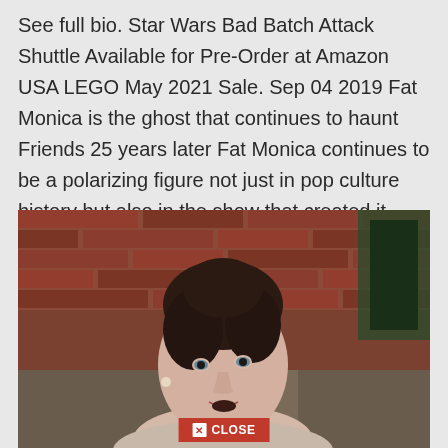See full bio. Star Wars Bad Batch Attack Shuttle Available for Pre-Order at Amazon USA LEGO May 2021 Sale. Sep 04 2019 Fat Monica is the ghost that continues to haunt Friends 25 years later Fat Monica continues to be a polarizing figure not just in pop culture history but also in the show that created it.
[Figure (photo): A woman with dark hair pulled up, wearing a light floral top and necklace, seated, looking sideways with mouth slightly open. Brick wall background. A red CLOSE button overlay appears at the bottom center of the image.]